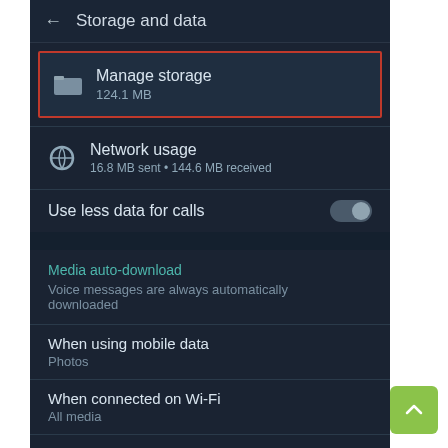Storage and data
Manage storage
124.1 MB
Network usage
16.8 MB sent • 144.6 MB received
Use less data for calls
Media auto-download
Voice messages are always automatically downloaded
When using mobile data
Photos
When connected on Wi-Fi
All media
When roaming
No media